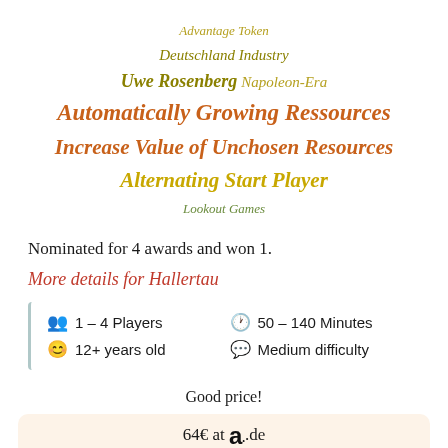[Figure (infographic): Tag cloud with game-related terms in various sizes and colors: Advantage Token, Deutschland Industry, Uwe Rosenberg, Napoleon-Era, Automatically Growing Ressources, Increase Value of Unchosen Resources, Alternating Start Player, Lookout Games]
Nominated for 4 awards and won 1.
More details for Hallertau
| 1 – 4 Players | 50 – 140 Minutes |
| 12+ years old | Medium difficulty |
Good price!
64€ at a .de